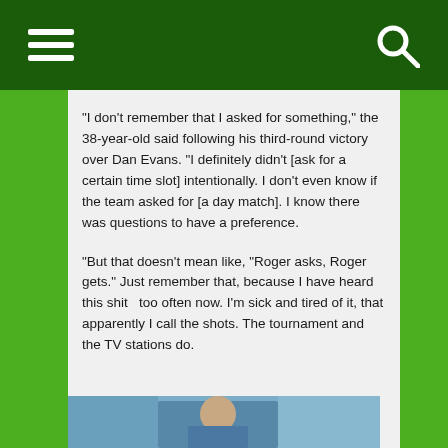“I don’t remember that I asked for something,” the 38-year-old said following his third-round victory over Dan Evans. “I definitely didn’t [ask for a certain time slot] intentionally. I don’t even know if the team asked for [a day match]. I know there was questions to have a preference.
“But that doesn’t mean like, “Roger asks, Roger gets.” Just remember that, because I have heard this shit  too often now. I’m sick and tired of it, that apparently I call the shots. The tournament and the TV stations do.
[Figure (photo): Photo of a tennis player (Roger Federer) on a court with a crowd in the background]